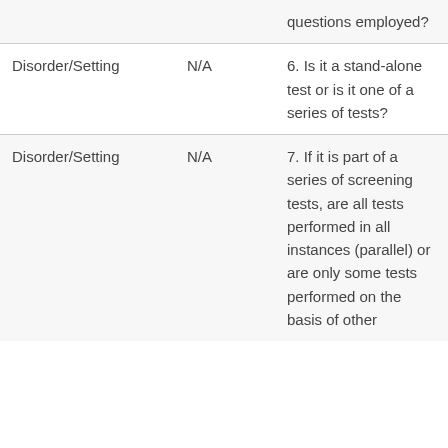|  |  | questions employed? |
| Disorder/Setting | N/A | 6. Is it a stand-alone test or is it one of a series of tests? |
| Disorder/Setting | N/A | 7. If it is part of a series of screening tests, are all tests performed in all instances (parallel) or are only some tests performed on the basis of other |